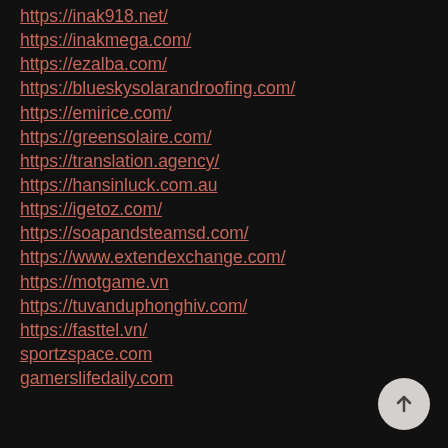https://inak918.net/
https://inakmega.com/
https://ezalba.com/
https://blueskysolarandroofing.com/
https://emirice.com/
https://greensolaire.com/
https://translation.agency/
https://hansinluck.com.au
https://igetoz.com/
https://soapandsteamsd.com/
https://www.extendexchange.com/
https://motgame.vn
https://tuvanduphonghiv.com/
https://fasttel.vn/
sportzspace.com
gamerslifedaily.com